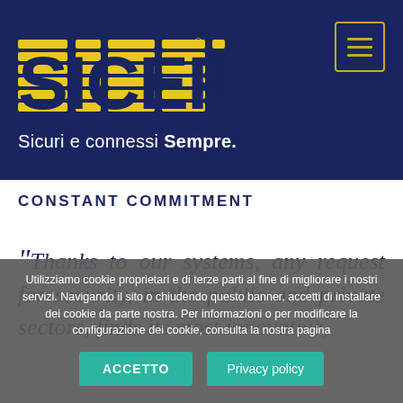[Figure (logo): SICEP logo in yellow on dark blue background with tagline 'Sicuri e connessi Sempre.']
CONSTANT COMMITMENT
"Thanks to our systems, any request for security, in the public and private sectors, finds its most innovative, advanced and competitive answer.
Utilizziamo cookie proprietari e di terze parti al fine di migliorare i nostri servizi. Navigando il sito o chiudendo questo banner, accetti di installare dei cookie da parte nostra. Per informazioni o per modificare la configurazione dei cookie, consulta la nostra pagina
ACCETTO | Privacy policy